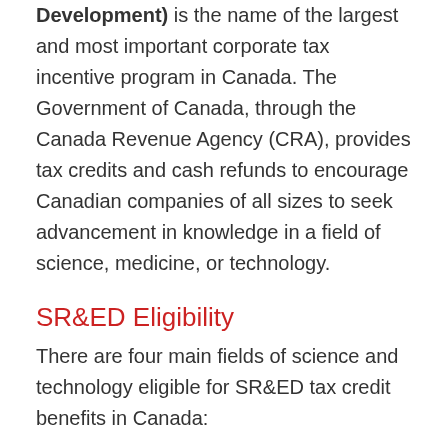Development) is the name of the largest and most important corporate tax incentive program in Canada. The Government of Canada, through the Canada Revenue Agency (CRA), provides tax credits and cash refunds to encourage Canadian companies of all sizes to seek advancement in knowledge in a field of science, medicine, or technology.
SR&ED Eligibility
There are four main fields of science and technology eligible for SR&ED tax credit benefits in Canada:
Natural & Formal Sciences
Engineering & Technology